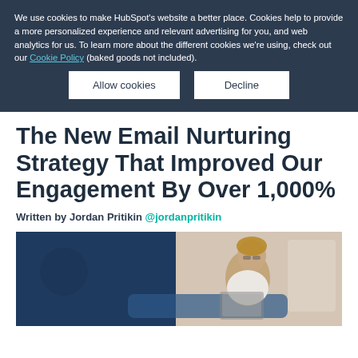We use cookies to make HubSpot's website a better place. Cookies help to provide a more personalized experience and relevant advertising for you, and web analytics for us. To learn more about the different cookies we're using, check out our Cookie Policy (baked goods not included).
Allow cookies | Decline
The New Email Nurturing Strategy That Improved Our Engagement By Over 1,000%
Written by Jordan Pritikin @jordanpritikin
[Figure (photo): A woman with glasses and blonde hair pulled back, wearing a white top, sitting on a blue sofa, looking down at a laptop or device. Background is light/neutral.]